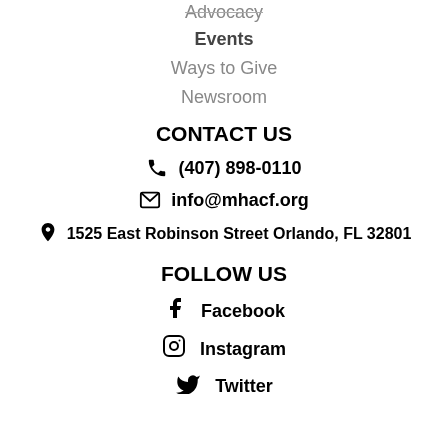Advocacy
Events
Ways to Give
Newsroom
CONTACT US
☎ (407) 898-0110
✉ info@mhacf.org
📍 1525 East Robinson Street Orlando, FL 32801
FOLLOW US
Facebook
Instagram
Twitter